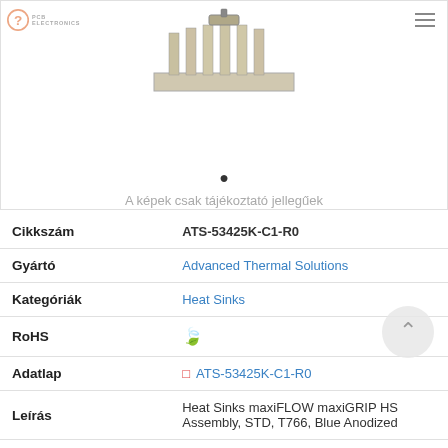[Figure (photo): Heat sink product photo - maxiGRIP HS Assembly against white background, shown from above/side angle. PCB Electronics logo top left, hamburger menu icon top right.]
A képek csak tájékoztató jellegűek
| Cikkszám | ATS-53425K-C1-R0 |
| Gyártó | Advanced Thermal Solutions |
| Kategóriák | Heat Sinks |
| RoHS | [leaf icon] |
| Adatlap | ATS-53425K-C1-R0 |
| Leírás | Heat Sinks maxiFLOW maxiGRIP HS Assembly, STD, T766, Blue Anodized |